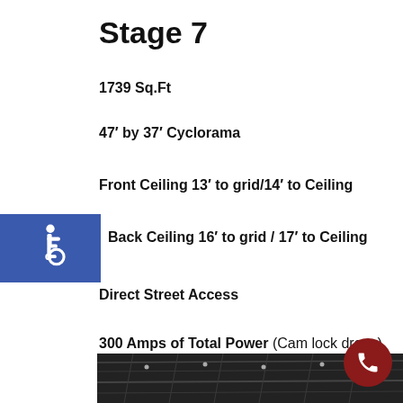Stage 7
1739 Sq.Ft
47′ by 37′ Cyclorama
Front Ceiling 13′ to grid/14′ to Ceiling
[Figure (illustration): Blue accessibility icon (wheelchair symbol) in a blue square background]
Back Ceiling 16′ to grid / 17′ to Ceiling
Direct Street Access
300 Amps of Total Power (Cam lock drops)
[Figure (photo): Black and white photo of a studio ceiling with lights and grid structure]
[Figure (illustration): Dark red circular call/phone button icon in bottom right corner]